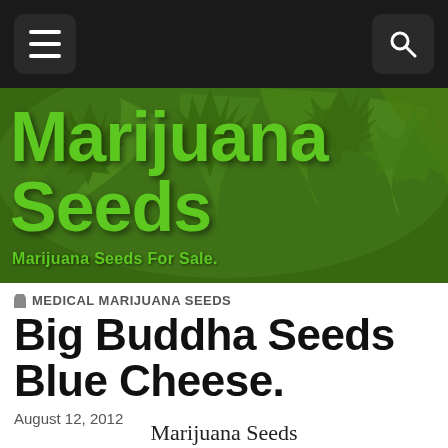[Figure (photo): Cannabis plant leaves close-up, lush green, used as hero banner background with green overlay text reading 'Marijuana Seeds' and subtitle 'Marijuana Seeds For Sale.']
Marijuana Seeds
Marijuana Seeds For Sale.
MEDICAL MARIJUANA SEEDS
Big Buddha Seeds Blue Cheese.
August 12, 2012
Marijuana Seeds